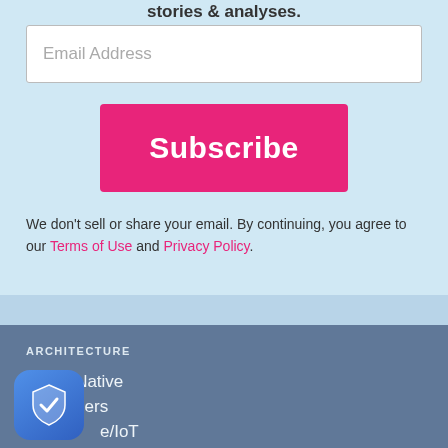stories & analyses.
Email Address
Subscribe
We don’t sell or share your email. By continuing, you agree to our Terms of Use and Privacy Policy.
ARCHITECTURE
Cloud Native
Containers
e/IoT
oservices